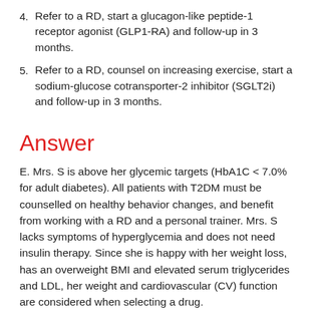4. Refer to a RD, start a glucagon-like peptide-1 receptor agonist (GLP1-RA) and follow-up in 3 months.
5. Refer to a RD, counsel on increasing exercise, start a sodium-glucose cotransporter-2 inhibitor (SGLT2i) and follow-up in 3 months.
Answer
E. Mrs. S is above her glycemic targets (HbA1C < 7.0% for adult diabetes). All patients with T2DM must be counselled on healthy behavior changes, and benefit from working with a RD and a personal trainer. Mrs. S lacks symptoms of hyperglycemia and does not need insulin therapy. Since she is happy with her weight loss, has an overweight BMI and elevated serum triglycerides and LDL, her weight and cardiovascular (CV) function are considered when selecting a drug.